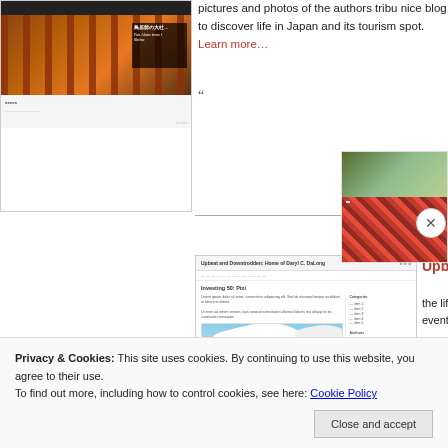[Figure (screenshot): Screenshot of a Japan travel/tourism blog with torii gate image]
pictures and photos of the authors tribu nice blog to discover life in Japan and its tourism spot. Learn more…
[Figure (screenshot): Screenshot of 'Upbeat and Downtrodden: Home of Daryl C. DaLong' blog with cloudy sky photo, showing blog post 'Investing 50: Pixi']
Upbeat an
the life of a events, foo
[Figure (screenshot): Partial screenshot of another blog with crowd/festival image]
Privacy & Cookies: This site uses cookies. By continuing to use this website, you agree to their use.
To find out more, including how to control cookies, see here: Cookie Policy
Close and accept